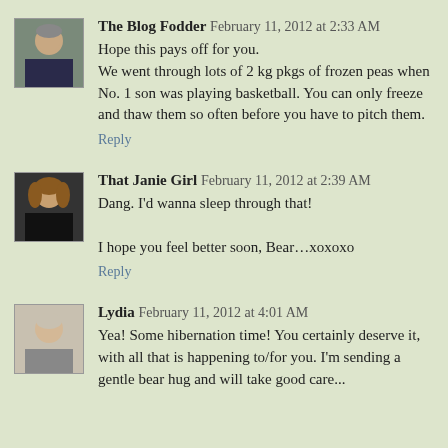The Blog Fodder  February 11, 2012 at 2:33 AM
Hope this pays off for you.
We went through lots of 2 kg pkgs of frozen peas when No. 1 son was playing basketball. You can only freeze and thaw them so often before you have to pitch them.
Reply
That Janie Girl  February 11, 2012 at 2:39 AM
Dang. I'd wanna sleep through that!
I hope you feel better soon, Bear...xoxoxo
Reply
Lydia  February 11, 2012 at 4:01 AM
Yea! Some hibernation time! You certainly deserve it, with all that is happening to/for you. I'm sending a gentle bear hug and will take good care...